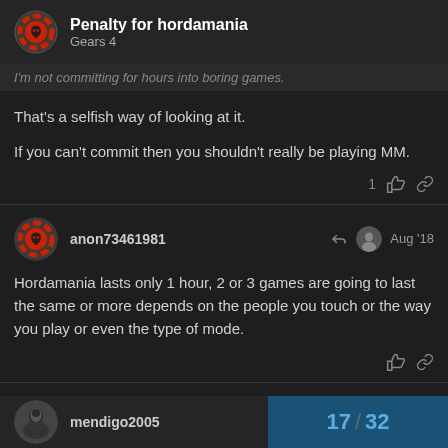Penalty for hordamania — Gears 4
I'm not committing for hours into boring games.
That's a selfish way of looking at it.

If you can't commit then you shouldn't really be playing MM.
anon73461981 — Aug '18
Hordamania lasts only 1 hour, 2 or 3 games are going to last the same or more depends on the people you touch or the way you play or even the type of mode.
mendigo2005
17 / 32